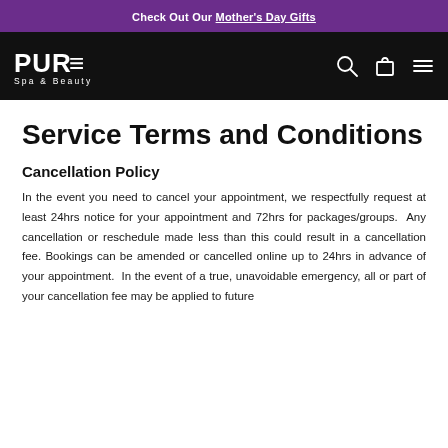Check Out Our Mother's Day Gifts
[Figure (logo): PURE Spa & Beauty logo in white on black background with search, bag, and menu icons]
Service Terms and Conditions
Cancellation Policy
In the event you need to cancel your appointment, we respectfully request at least 24hrs notice for your appointment and 72hrs for packages/groups.  Any cancellation or reschedule made less than this could result in a cancellation fee. Bookings can be amended or cancelled online up to 24hrs in advance of your appointment.  In the event of a true, unavoidable emergency, all or part of your cancellation fee may be applied to future